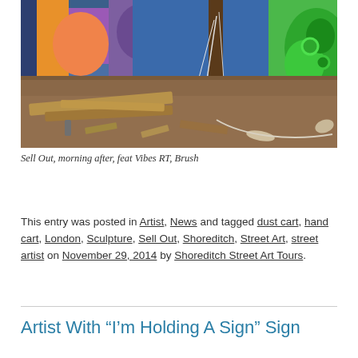[Figure (photo): Street-level photo of debris and wooden planks on dirt ground in front of colorful graffiti murals on a wall. The graffiti includes vibrant green, blue, orange, and purple designs.]
Sell Out, morning after, feat Vibes RT, Brush
This entry was posted in Artist, News and tagged dust cart, hand cart, London, Sculpture, Sell Out, Shoreditch, Street Art, street artist on November 29, 2014 by Shoreditch Street Art Tours.
Artist With “I’m Holding A Sign” Sign